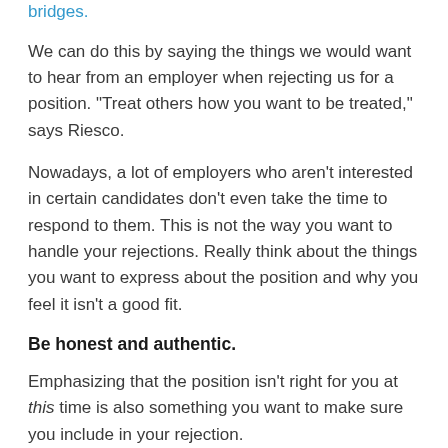bridges.
We can do this by saying the things we would want to hear from an employer when rejecting us for a position. "Treat others how you want to be treated," says Riesco.
Nowadays, a lot of employers who aren't interested in certain candidates don't even take the time to respond to them. This is not the way you want to handle your rejections. Really think about the things you want to express about the position and why you feel it isn't a good fit.
Be honest and authentic.
Emphasizing that the position isn't right for you at this time is also something you want to make sure you include in your rejection.
"I would love to keep in touch with you and would love to know what other opportunities you would have in